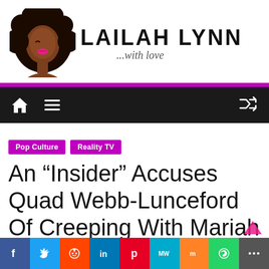[Figure (logo): Lailah Lynn blog logo: illustrated woman with large natural hair, beside bold text 'LAILAH LYNN' and italic script '...with love']
LAILAH LYNN ...with love
Pop Culture
Reality TV
An “Insider” Accuses Quad Webb-Lunceford Of Creeping With Mariah
[Figure (infographic): Social share bar with icons: Facebook, Twitter, Reddit, LinkedIn, Pinterest, MeWe, Mix, WhatsApp, More]